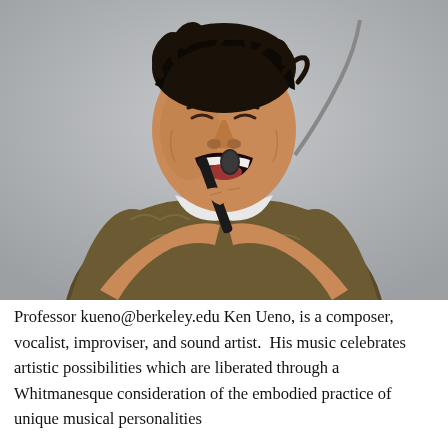[Figure (photo): A man with disheveled dark hair, eyes closed, mouth open wide as if singing or performing intensely, wearing a brown cable-knit sweater with a white collar underneath, holding a dark microphone close to his chest/face with both hands crossed. The background is light gray. Performing musician Ken Ueno.]
Professor kueno@berkeley.edu Ken Ueno, is a composer, vocalist, improviser, and sound artist.  His music celebrates artistic possibilities which are liberated through a Whitmanesque consideration of the embodied practice of unique musical personalities...